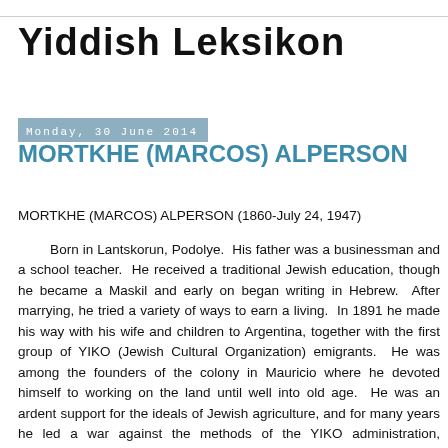Yiddish Leksikon
Monday, 30 June 2014
MORTKHE (MARCOS) ALPERSON
MORTKHE (MARCOS) ALPERSON (1860-July 24, 1947)
        Born in Lantskorun, Podolye.  His father was a businessman and a school teacher.  He received a traditional Jewish education, though he became a Maskil and early on began writing in Hebrew.  After marrying, he tried a variety of ways to earn a living.  In 1891 he made his way with his wife and children to Argentina, together with the first group of YIKO (Jewish Cultural Organization) emigrants.  He was among the founders of the colony in Mauricio where he devoted himself to working on the land until well into old age.  He was an ardent support for the ideals of Jewish agriculture, and for many years he led a war against the methods of the YIKO administration, publishing pamphlet articles, concerning this in the Argentinian and general